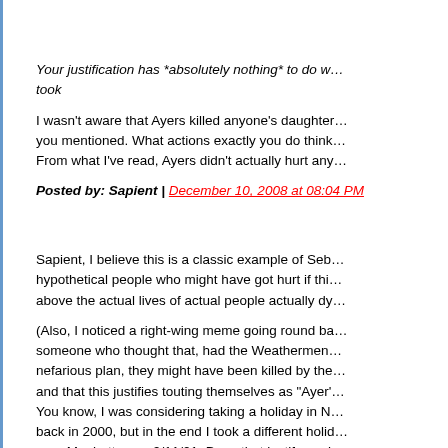Your justification has *absolutely nothing* to do w... took
I wasn't aware that Ayers killed anyone's daughter... you mentioned. What actions exactly you do think... From what I've read, Ayers didn't actually hurt any...
Posted by: Sapient | December 10, 2008 at 08:04 PM
Sapient, I believe this is a classic example of Seb... hypothetical people who might have got hurt if thi... above the actual lives of actual people actually dy...
(Also, I noticed a right-wing meme going round ba... someone who thought that, had the Weathermen... nefarious plan, they might have been killed by the... and that this justifies touting themselves as "Ayer'... You know, I was considering taking a holiday in N... back in 2000, but in the end I took a different holid... near Manhattan on 9/11/01. Does that justify me h... victim of September 11?)